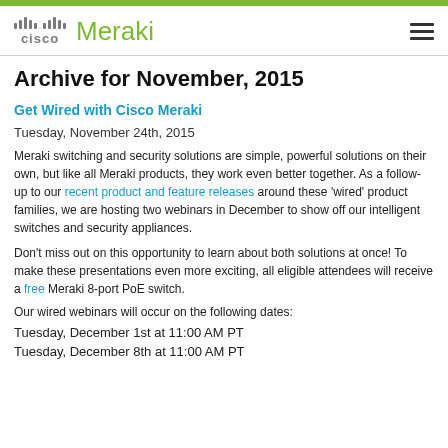[Figure (logo): Cisco Meraki logo with navigation hamburger menu]
Archive for November, 2015
Get Wired with Cisco Meraki
Tuesday, November 24th, 2015
Meraki switching and security solutions are simple, powerful solutions on their own, but like all Meraki products, they work even better together. As a follow-up to our recent product and feature releases around these 'wired' product families, we are hosting two webinars in December to show off our intelligent switches and security appliances.
Don't miss out on this opportunity to learn about both solutions at once! To make these presentations even more exciting, all eligible attendees will receive a free Meraki 8-port PoE switch.
Our wired webinars will occur on the following dates:
Tuesday, December 1st at 11:00 AM PT
Tuesday, December 8th at 11:00 AM PT